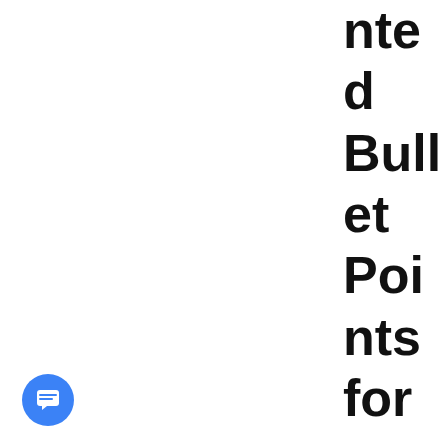nted Bullet Points for you to read with a cup of tea and your pink
[Figure (other): Blue circular chat/message button icon in the bottom-left corner]